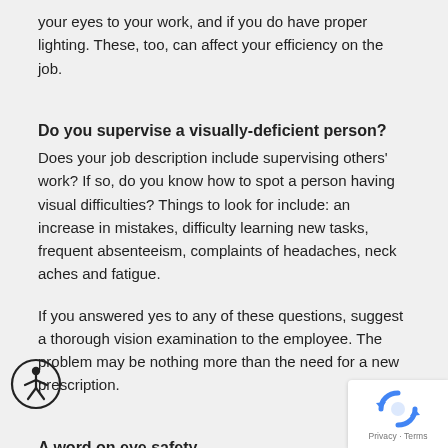your eyes to your work, and if you do have proper lighting. These, too, can affect your efficiency on the job.
Do you supervise a visually-deficient person?
Does your job description include supervising others' work? If so, do you know how to spot a person having visual difficulties? Things to look for include: an increase in mistakes, difficulty learning new tasks, frequent absenteeism, complaints of headaches, neck aches and fatigue.
If you answered yes to any of these questions, suggest a thorough vision examination to the employee. The problem may be nothing more than the need for a new prescription.
A word on eye safety
Eye and vision hazards are as numerous as the jobs which surround them. If you work in a potentially hazardous environment, you should take the necessary precautions of wearing protective